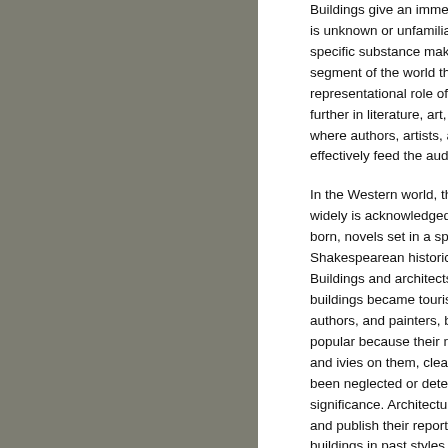Buildings give an immediate p... is unknown or unfamiliar to the... specific substance makes the ... segment of the world that it rep... representational role of archite... further in literature, art, and the... where authors, artists, and sta... effectively feed the audience's...
In the Western world, the perio... widely is acknowledged for its ... born, novels set in a specific h... Shakespearean historical play... Buildings and architects played... buildings became tourist desti... authors, and painters, both am... popular because their missing... and ivies on them, clearly indic... been neglected or detested by... significance. Architectural draf... and publish their reports in bo... buildings in past styles. What i... consciousness is that serious s... the past were not necessarily m... motivated by a romantic longin...